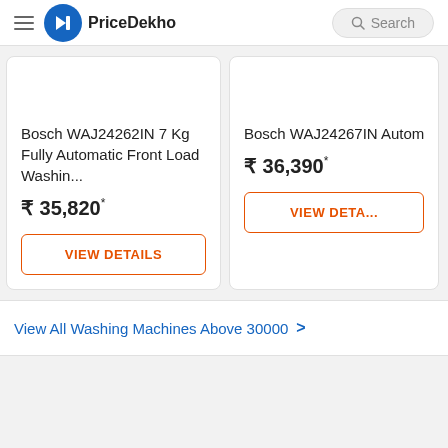PriceDekho
Bosch WAJ24262IN 7 Kg Fully Automatic Front Load Washin... ₹ 35,820*
Bosch WAJ24267IN Automatic Front Lo... ₹ 36,390*
VIEW DETAILS
VIEW DETA...
View All Washing Machines Above 30000 >